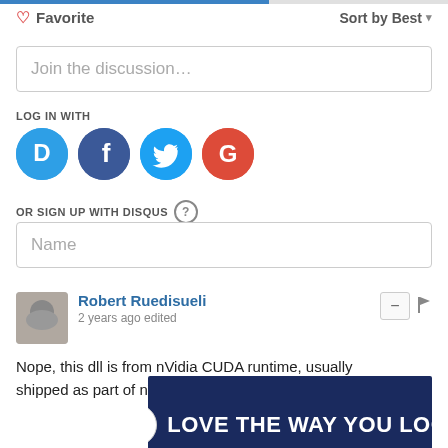[Figure (screenshot): Top progress bar — partially filled blue bar across the top of the page]
♡ Favorite
Sort by Best ▾
Join the discussion...
LOG IN WITH
[Figure (logo): Four social login icons: Disqus (D, blue), Facebook (f, dark blue), Twitter (bird, light blue), Google (G, red)]
OR SIGN UP WITH DISQUS ?
Name
Robert Ruedisueli
2 years ago edited
Nope, this dll is from nVidia CUDA runtime, usually shipped as part of nVidia PhysX Runtime.
[Figure (screenshot): Men's Wearhouse advertisement banner: dark navy background with circular M|W logo and text 'LOVE THE WAY YOU LOOK' and 'MEN'S WEARHOUSE']